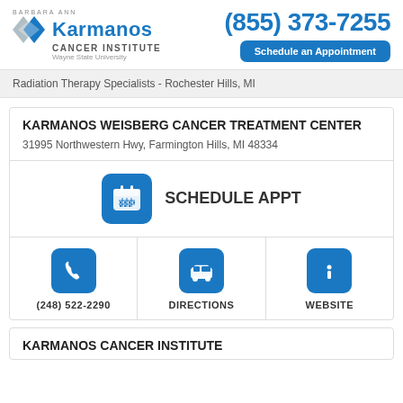[Figure (logo): Barbara Ann Karmanos Cancer Institute logo with Wayne State University affiliation, alongside phone number (855) 373-7255 and Schedule an Appointment button]
Radiation Therapy Specialists - Rochester Hills, MI
KARMANOS WEISBERG CANCER TREATMENT CENTER
31995 Northwestern Hwy, Farmington Hills, MI 48334
SCHEDULE APPT
(248) 522-2290
DIRECTIONS
WEBSITE
KARMANOS CANCER INSTITUTE